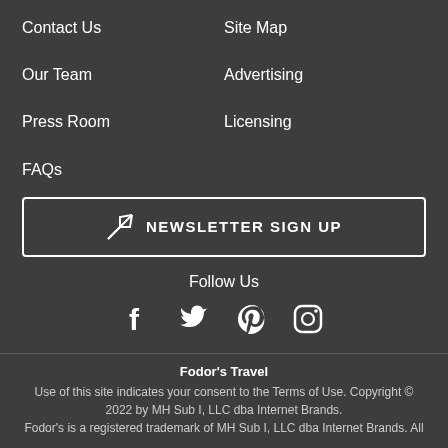Contact Us
Site Map
Our Team
Advertising
Press Room
Licensing
FAQs
NEWSLETTER SIGN UP
Follow Us
[Figure (illustration): Social media icons: Facebook, Twitter, Pinterest, Instagram]
Fodor's Travel
Use of this site indicates your consent to the Terms of Use. Copyright © 2022 by MH Sub I, LLC dba Internet Brands.
Fodor's is a registered trademark of MH Sub I, LLC dba Internet Brands. All